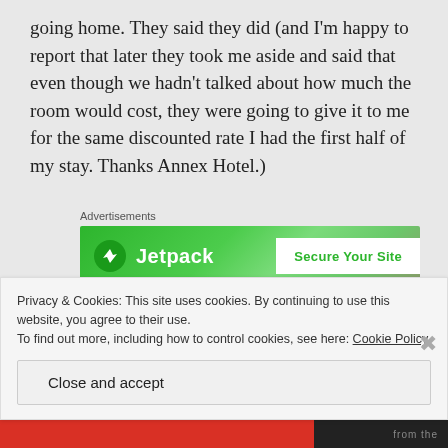going home. They said they did (and I'm happy to report that later they took me aside and said that even though we hadn't talked about how much the room would cost, they were going to give it to me for the same discounted rate I had the first half of my stay. Thanks Annex Hotel.)
[Figure (other): Jetpack advertisement banner with green background showing Jetpack logo and 'Secure Your Site' button]
I felt a little bit better once that was done. Then I began to try to find the Lost and Found, and then the Police
Privacy & Cookies: This site uses cookies. By continuing to use this website, you agree to their use.
To find out more, including how to control cookies, see here: Cookie Policy
Close and accept